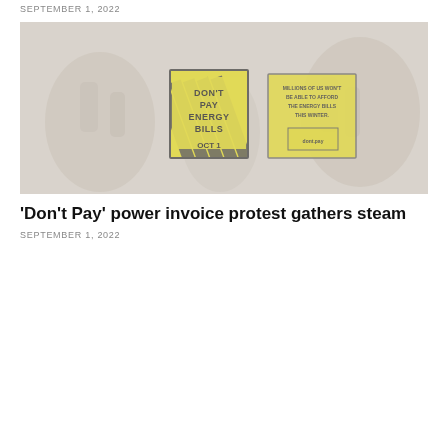SEPTEMBER 1, 2022
[Figure (photo): Faded/washed-out photo of protest participants holding yellow and black 'DON'T PAY ENERGY BILLS OCT 1' signs against energy bill increases.]
‘Don’t Pay’ power invoice protest gathers steam
SEPTEMBER 1, 2022